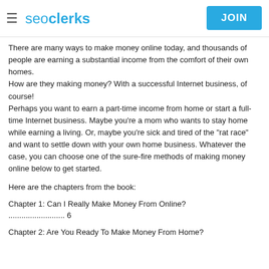seoclerks | JOIN
There are many ways to make money online today, and thousands of people are earning a substantial income from the comfort of their own homes.
How are they making money? With a successful Internet business, of course!
Perhaps you want to earn a part-time income from home or start a full-time Internet business. Maybe you're a mom who wants to stay home while earning a living. Or, maybe you're sick and tired of the "rat race" and want to settle down with your own home business. Whatever the case, you can choose one of the sure-fire methods of making money online below to get started.
Here are the chapters from the book:
Chapter 1: Can I Really Make Money From Online? .......................... 6
Chapter 2: Are You Ready To Make Money From Home?